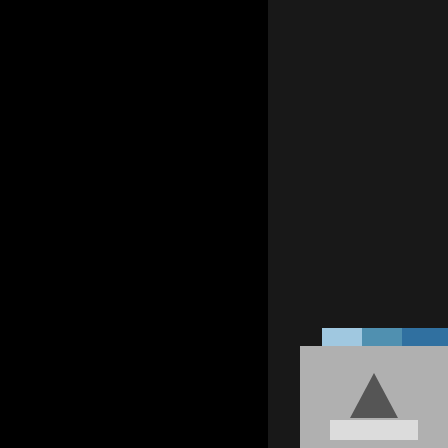[Figure (photo): Left half of the page is a large black area, likely a photo with very dark/black content]
Spent a few days in Mt. Dese... course we had the famous M...
[Figure (photo): Partial thumbnail image in bottom right corner showing a light gray/blue image with a dark triangle shape and some white content]